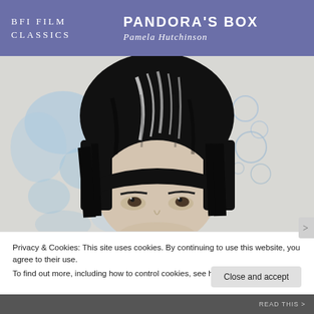BFI FILM CLASSICS  PANDORA'S BOX  Pamela Hutchinson
[Figure (illustration): Artistic illustration of a woman with a black bob haircut, eyes peering upward, with watercolor blue splotches and bubbles in the background. Black and white ink style portrait.]
Privacy & Cookies: This site uses cookies. By continuing to use this website, you agree to their use.
To find out more, including how to control cookies, see here: Our Cookie Policy
Close and accept